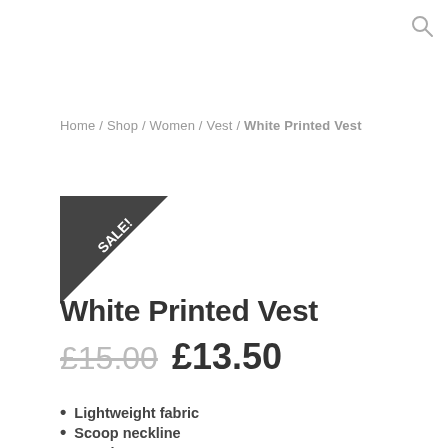[Figure (illustration): Search (magnifying glass) icon in top right corner]
Home / Shop / Women / Vest / White Printed Vest
[Figure (illustration): Dark triangular SALE! badge in top-left corner of product area]
White Printed Vest
£15.00  £13.50
Lightweight fabric
Scoop neckline
Regular cut